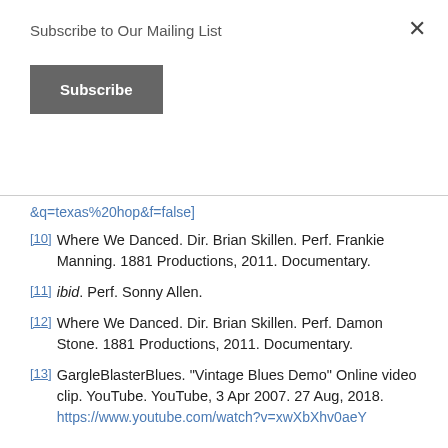Subscribe to Our Mailing List
Subscribe
&q=texas%20hop&f=false]
[10] Where We Danced. Dir. Brian Skillen. Perf. Frankie Manning. 1881 Productions, 2011. Documentary.
[11] ibid. Perf. Sonny Allen.
[12] Where We Danced. Dir. Brian Skillen. Perf. Damon Stone. 1881 Productions, 2011. Documentary.
[13] GargleBlasterBlues. "Vintage Blues Demo" Online video clip. YouTube. YouTube, 3 Apr 2007. 27 Aug, 2018. https://www.youtube.com/watch?v=xwXbXhv0aeY